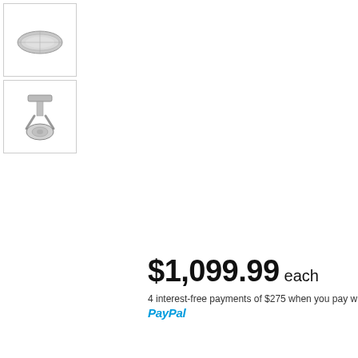[Figure (photo): Thumbnail image of a metal hardware part, viewed from above, oval/elliptical shape, silver/grey metallic finish]
[Figure (photo): Thumbnail image of a metal caster or swivel joint hardware part, side view, silver/grey metallic finish]
$1,099.99 each
4 interest-free payments of $275 when you pay with PayPal